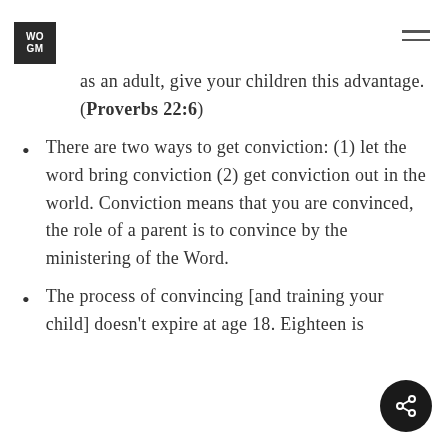WOGM
as an adult, give your children this advantage. (Proverbs 22:6)
There are two ways to get conviction: (1) let the word bring conviction (2) get conviction out in the world. Conviction means that you are convinced, the role of a parent is to convince by the ministering of the Word.
The process of convincing [and training your child] doesn't expire at age 18. Eighteen is